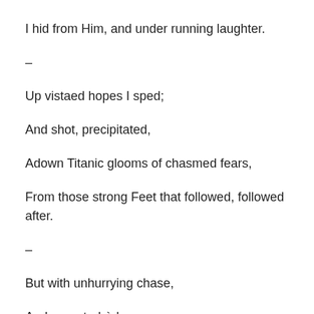I hid from Him, and under running laughter.
–
Up vistaed hopes I sped;
And shot, precipitated,
Adown Titanic glooms of chasmed fears,
From those strong Feet that followed, followed after.
–
But with unhurrying chase,
And unperturbèd pace,
Deliberate speed, majestic instancy,